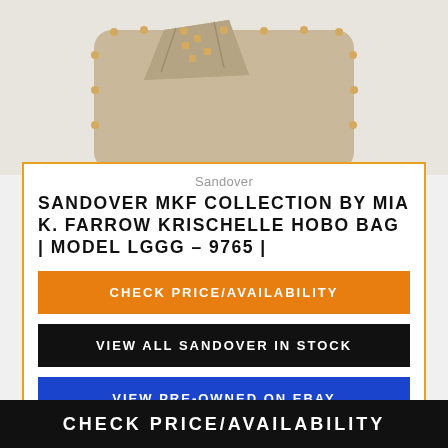[Figure (photo): Product photo of a beige/tan leather hobo bag with gold studs along the edges, shown from the top portion on a light gray background.]
Sandover
SANDOVER MKF COLLECTION BY MIA K. FARROW KRISCHELLE HOBO BAG | MODEL LGGG - 9765 |
CHECK PRICE/AVAILABILITY
VIEW ALL SANDOVER IN STOCK
VIEW PRE-OWNED ON EBAY
CHECK PRICE/AVAILABILITY